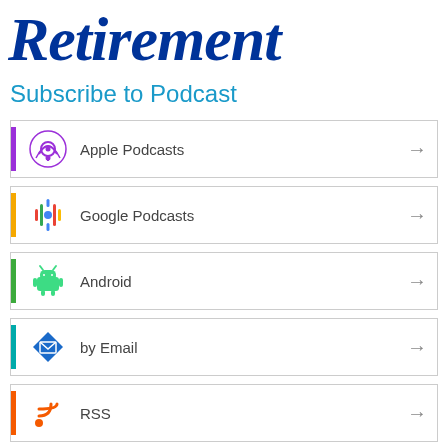[Figure (logo): Cursive blue script logo reading 'Retirement']
Subscribe to Podcast
Apple Podcasts
Google Podcasts
Android
by Email
RSS
More Subscribe Options